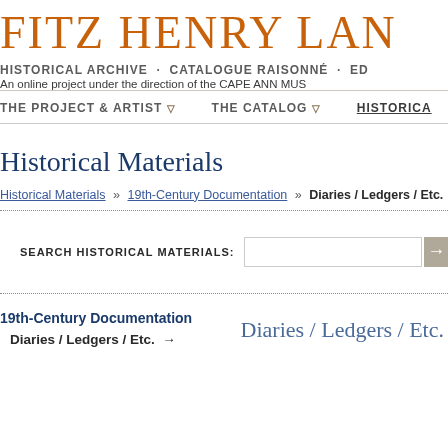FITZ HENRY LAN
HISTORICAL ARCHIVE · CATALOGUE RAISONNÉ · ED
An online project under the direction of the CAPE ANN MUS
THE PROJECT & ARTIST ▽   THE CATALOG ▽   HISTORICA
Historical Materials
Historical Materials » 19th-Century Documentation » Diaries / Ledgers / Etc.
SEARCH HISTORICAL MATERIALS:
19th-Century Documentation
Diaries / Ledgers / Etc. →
Diaries / Ledgers / Etc.